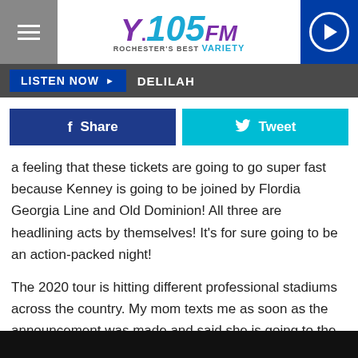Y.105FM Rochester's Best VARIETY
LISTEN NOW ▶  DELILAH
[Figure (other): Facebook Share button and Twitter Tweet button]
a feeling that these tickets are going to go super fast because Kenney is going to be joined by Flordia Georgia Line and Old Dominion! All three are headlining acts by themselves! It's for sure going to be an action-packed night!
The 2020 tour is hitting different professional stadiums across the country. My mom texts me as soon as the announcement was made and said she is going to the Colorado concert, so I guess I have to go to the Minnesota one. Here is what Kenny has to say about the tour!
[Figure (photo): Dark video/image strip at the bottom of the page]